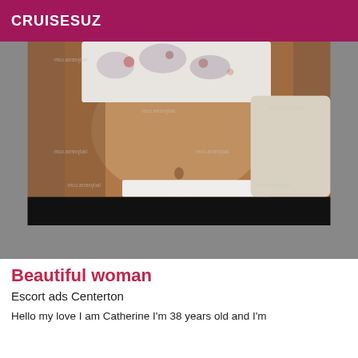CRUISESUZ
[Figure (photo): Photo of a woman in white floral bikini top and white lace underwear, midriff visible, lying on a bed. Watermarks from ladyxena.com visible throughout.]
Beautiful woman
Escort ads Centerton
Hello my love I am Catherine I'm 38 years old and I'm